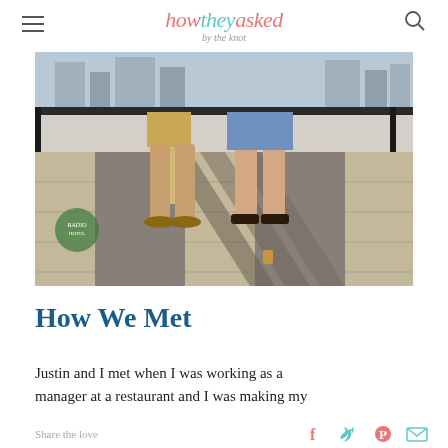how they asked by the knot
[Figure (photo): Photo of two people standing on a rooftop terrace, showing only their legs/lower bodies. Person on left wearing khaki shorts and flip-flops; person on right wearing denim shorts and dark sandals. Rooftop tiles visible with shadows, city skyline in background.]
How We Met
Justin and I met when I was working as a manager at a restaurant and I was making my
Share the love